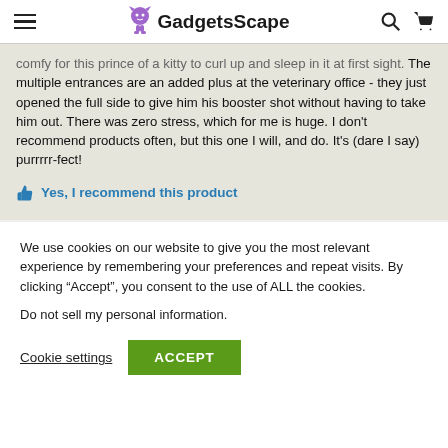GadgetsScape
comfy for this prince of a kitty to curl up and sleep in it at first sight. The multiple entrances are an added plus at the veterinary office - they just opened the full side to give him his booster shot without having to take him out. There was zero stress, which for me is huge. I don't recommend products often, but this one I will, and do. It's (dare I say) purrrrr-fect!
Yes, I recommend this product
We use cookies on our website to give you the most relevant experience by remembering your preferences and repeat visits. By clicking “Accept”, you consent to the use of ALL the cookies.
Do not sell my personal information.
Cookie settings
ACCEPT